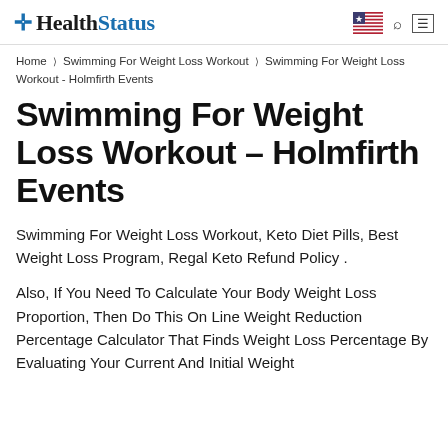HealthStatus
Home › Swimming For Weight Loss Workout › Swimming For Weight Loss Workout - Holmfirth Events
Swimming For Weight Loss Workout – Holmfirth Events
Swimming For Weight Loss Workout, Keto Diet Pills, Best Weight Loss Program, Regal Keto Refund Policy .
Also, If You Need To Calculate Your Body Weight Loss Proportion, Then Do This On Line Weight Reduction Percentage Calculator That Finds Weight Loss Percentage By Evaluating Your Current And Initial Weight